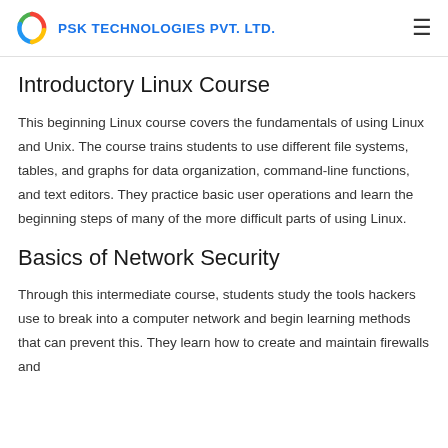PSK TECHNOLOGIES PVT. LTD.
Introductory Linux Course
This beginning Linux course covers the fundamentals of using Linux and Unix. The course trains students to use different file systems, tables, and graphs for data organization, command-line functions, and text editors. They practice basic user operations and learn the beginning steps of many of the more difficult parts of using Linux.
Basics of Network Security
Through this intermediate course, students study the tools hackers use to break into a computer network and begin learning methods that can prevent this. They learn how to create and maintain firewalls and